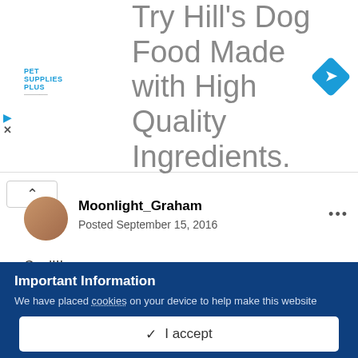[Figure (screenshot): Advertisement banner for Pet Supplies Plus dog food with large grey text 'Try Hill's Dog Food Made with High Quality Ingredients.' A blue diamond navigation icon on the right, Pet Supplies Plus logo on the left, and dismiss/play icons.]
Moonlight_Graham
Posted September 15, 2016
Cool!!!
Quote
Important Information
We have placed cookies on your device to help make this website better. You can adjust your cookie settings, otherwise we'll assume you're okay to continue.
✓  I accept